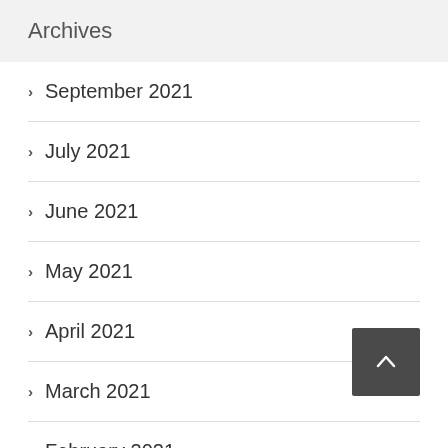Archives
September 2021
July 2021
June 2021
May 2021
April 2021
March 2021
February 2021